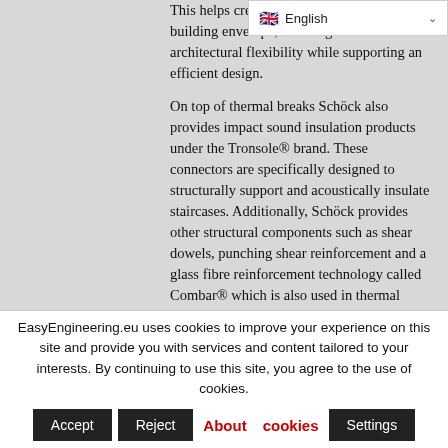This helps create a continuous thermal envelope at the building envelope, allowing maximum architectural flexibility while supporting an efficient design.

On top of thermal breaks Schöck also provides impact sound insulation products under the Tronsole® brand. These connectors are specifically designed to structurally support and acoustically insulate staircases. Additionally, Schöck provides other structural components such as shear dowels, punching shear reinforcement and a glass fibre reinforcement technology called Combar® which is also used in thermal bridge free
EasyEngineering.eu uses cookies to improve your experience on this site and provide you with services and content tailored to your interests. By continuing to use this site, you agree to the use of cookies. Accept Reject About cookies Settings